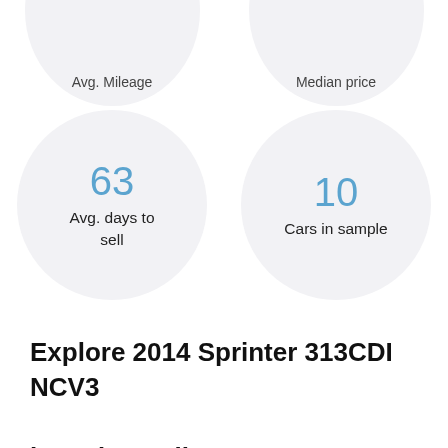[Figure (infographic): Two partially visible circular stat cards at top: 'Avg. Mileage' and 'Median price' (cut off at top edge of page)]
[Figure (infographic): Two circular stat cards in middle row: '63 Avg. days to sell' and '10 Cars in sample']
Explore 2014 Sprinter 313CDI NCV3 based on mileage